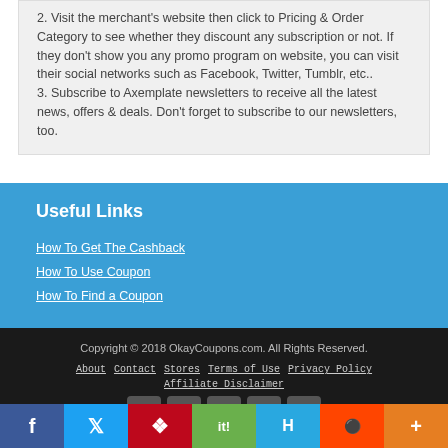2. Visit the merchant's website then click to Pricing & Order Category to see whether they discount any subscription or not. If they don't show you any promo program on website, you can visit their social networks such as Facebook, Twitter, Tumblr, etc..
3. Subscribe to Axemplate newsletters to receive all the latest news, offers & deals. Don't forget to subscribe to our newsletters, too.
Useful Links
How To Get The Cashback
How To Use Coupon
How To Find a Coupon
Copyright © 2018 OkayCoupons.com. All Rights Reserved.
About | Contact | Stores | Terms of Use | Privacy Policy | Affiliate Disclaimer